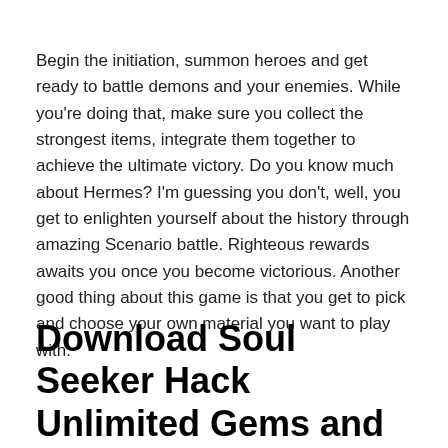Begin the initiation, summon heroes and get ready to battle demons and your enemies. While you're doing that, make sure you collect the strongest items, integrate them together to achieve the ultimate victory. Do you know much about Hermes? I'm guessing you don't, well, you get to enlighten yourself about the history through amazing Scenario battle. Righteous rewards awaits you once you become victorious. Another good thing about this game is that you get to pick and choose your own material you want to play with.
Download Soul Seeker Hack Unlimited Gems and Money